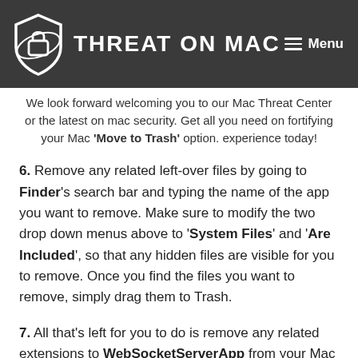THREAT ON MAC | Menu
We look forward welcoming you to our Mac Threat Center or the latest on mac security. Get all you need on fortifying your Mac 'Move to Trash' option. experience today!
6. Remove any related left-over files by going to Finder's search bar and typing the name of the app you want to remove. Make sure to modify the two drop down menus above to 'System Files' and 'Are Included', so that any hidden files are visible for you to remove. Once you find the files you want to remove, simply drag them to Trash.
7. All that's left for you to do is remove any related extensions to WebSocketServerApp from your Mac